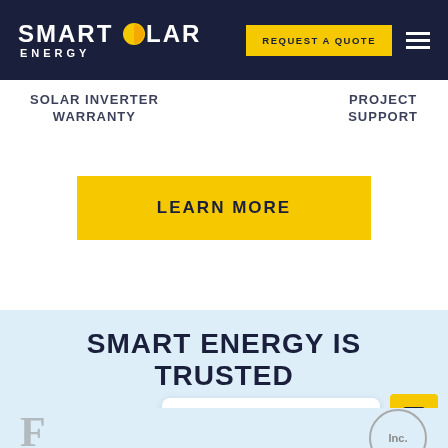[Figure (logo): Smart Solar Energy logo with sun icon, white text on dark navy background]
REQUEST A QUOTE
SOLAR INVERTER WARRANTY
PROJECT SUPPORT
LEARN MORE
SMART ENERGY IS TRUSTED BY THE NAMES YOU KNOW
Hello! How can I help you?
[Figure (screenshot): Partial brand logos visible at bottom of page]